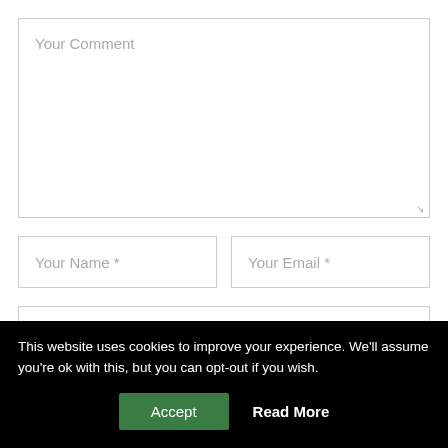[Figure (screenshot): Web form with comment textarea, name/email fields, website field, and a checkbox row. Below is a cookie consent banner with Accept and Read More buttons.]
Your Comment
Your Name *
Your Email *
Your Website
This website uses cookies to improve your experience. We'll assume you're ok with this, but you can opt-out if you wish.
Accept
Read More